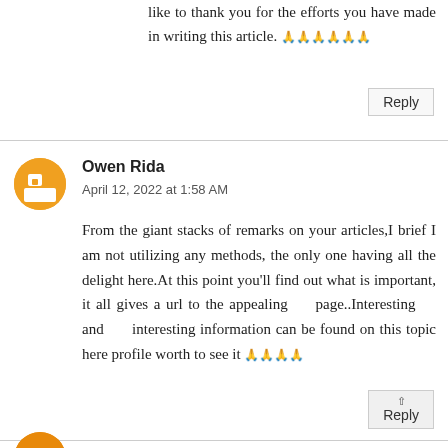like to thank you for the efforts you have made in writing this article. 🙏🙏🙏🙏🙏🙏
Reply
Owen Rida
April 12, 2022 at 1:58 AM
From the giant stacks of remarks on your articles,I brief I am not utilizing any methods, the only one having all the delight here.At this point you'll find out what is important, it all gives a url to the appealing page..Interesting and interesting information can be found on this topic here profile worth to see it 🙏🙏🙏🙏
Reply